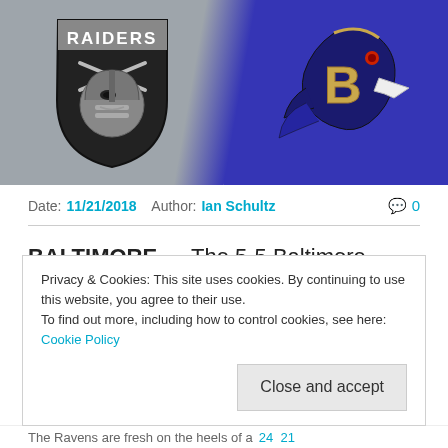[Figure (illustration): NFL matchup graphic: Left half shows Raiders logo (silver shield with helmeted player) on gray background, right half shows Baltimore Ravens logo (purple raven head with golden B) on purple background]
Date: 11/21/2018  Author: Ian Schultz  💬 0
BALTIMORE — The 5-5 Baltimore Ravens look for back-to-back wins this Sunday at M&T
Privacy & Cookies: This site uses cookies. By continuing to use this website, you agree to their use.
To find out more, including how to control cookies, see here:
Cookie Policy
Close and accept
The Ravens are fresh on the heels of a 24 21